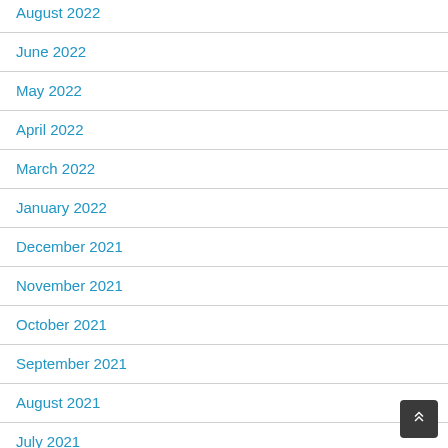August 2022
June 2022
May 2022
April 2022
March 2022
January 2022
December 2021
November 2021
October 2021
September 2021
August 2021
July 2021